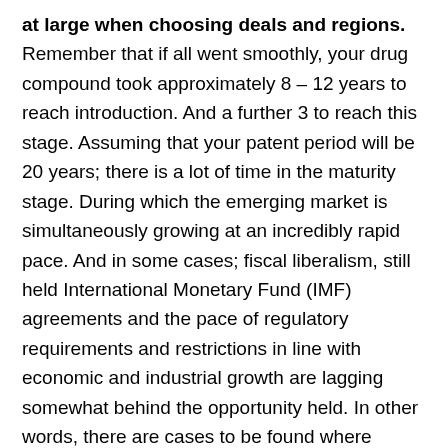at large when choosing deals and regions. Remember that if all went smoothly, your drug compound took approximately 8 – 12 years to reach introduction. And a further 3 to reach this stage. Assuming that your patent period will be 20 years; there is a lot of time in the maturity stage. During which the emerging market is simultaneously growing at an incredibly rapid pace. And in some cases; fiscal liberalism, still held International Monetary Fund (IMF) agreements and the pace of regulatory requirements and restrictions in line with economic and industrial growth are lagging somewhat behind the opportunity held. In other words, there are cases to be found where regulatory requirements on pharmaceutics are far less developed than the hoops you have had to jump through in other regions. This is certainly not true in all cases. This is not even the case in most cases. But there are enclaves. It's not a good thing – but if you made it this far – you are clearly here to read the dirty. So there it is. Money making filth for free on a platter. I'm kidding. No, I'm not. You'll never know.